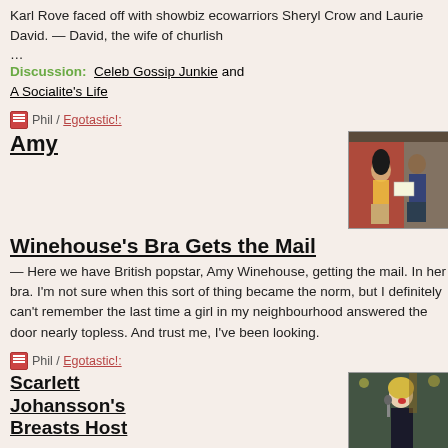Karl Rove faced off with showbiz ecowarriors Sheryl Crow and Laurie David.  —  David, the wife of churlish
…
Discussion:  Celeb Gossip Junkie and A Socialite's Life
📄 Phil / Egotastic!:
Amy Winehouse's Bra Gets the Mail
[Figure (photo): Photo of Amy Winehouse in a bra receiving mail from a postman at her door]
—  Here we have British popstar, Amy Winehouse, getting the mail.  In her bra.  I'm not sure when this sort of thing became the norm, but I definitely can't remember the last time a girl in my neighbourhood answered the door nearly topless.  And trust me, I've been looking.
📄 Phil / Egotastic!:
Scarlett Johansson's Breasts Host
[Figure (photo): Photo of Scarlett Johansson singing/performing on stage]